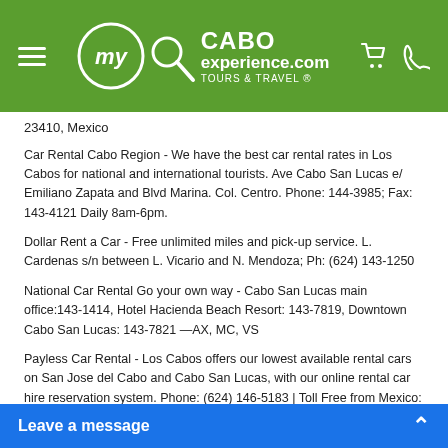[Figure (logo): MyCaboExperience.com Tours & Travel logo on green header bar with hamburger menu, cart and phone icons]
23410, Mexico
Car Rental Cabo Region - We have the best car rental rates in Los Cabos for national and international tourists. Ave Cabo San Lucas e/ Emiliano Zapata and Blvd Marina. Col. Centro. Phone: 144-3985; Fax: 143-4121 Daily 8am-6pm.
Dollar Rent a Car - Free unlimited miles and pick-up service. L. Cardenas s/n between L. Vicario and N. Mendoza; Ph: (624) 143-1250
National Car Rental Go your own way - Cabo San Lucas main office:143-1414, Hotel Hacienda Beach Resort: 143-7819, Downtown Cabo San Lucas: 143-7821 —AX, MC, VS
Payless Car Rental - Los Cabos offers our lowest available rental cars on San Jose del Cabo and Cabo San Lucas, with our online rental car hire reservation system. Phone: (624) 146-5183 | Toll Free from Mexico: 01... from the airport parking lot...